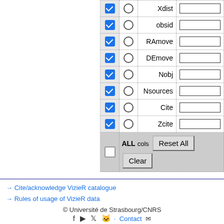| check | radio | name | input |
| --- | --- | --- | --- |
| checked | radio | Xdist |  |
| checked | radio | obsid |  |
| checked | radio | RAmove |  |
| checked | radio | DEmove |  |
| checked | radio | Nobj |  |
| checked | radio | Nsources |  |
| checked | radio | Cite |  |
| checked | radio | Zcite |  |
| unchecked |  | ALL cols | Reset All / Clear |
Adapt form   Display your selection only
Display  UCD1+  UCD
→ Cite/acknowledge VizieR catalogue
→ Rules of usage of VizieR data
© Université de Strasbourg/CNRS  Contact